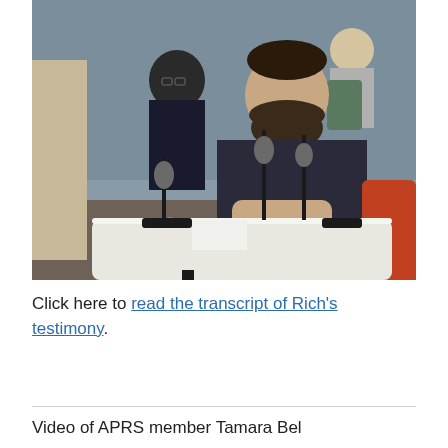[Figure (photo): A bearded man in a dark shirt sits at a table with microphones in what appears to be a public hearing or government meeting room. Other people are visible in the background seated in chairs.]
Click here to read the transcript of Rich's testimony.
Video of APRS member Tamara Bel...